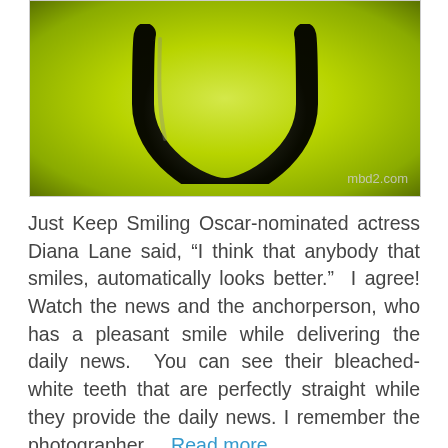[Figure (photo): Close-up photo of a dark curved horseshoe or bracket shape against a bright yellow-green background, with watermark 'mbd2.com' in bottom-right corner.]
Just Keep Smiling Oscar-nominated actress Diana Lane said, “I think that anybody that smiles, automatically looks better.”  I agree!  Watch the news and the anchorperson, who has a pleasant smile while delivering the daily news.  You can see their bleached-white teeth that are perfectly straight while they provide the daily news. I remember the photographer ... Read more